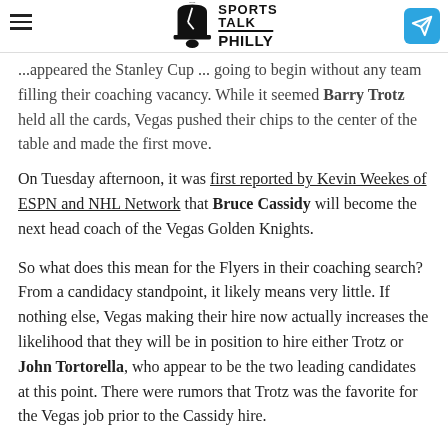Sports Talk Philly — navigation header with logo
...appeared the Stanley Cup ...going to begin without any team filling their coaching vacancy. While it seemed Barry Trotz held all the cards, Vegas pushed their chips to the center of the table and made the first move.
On Tuesday afternoon, it was first reported by Kevin Weekes of ESPN and NHL Network that Bruce Cassidy will become the next head coach of the Vegas Golden Knights.
So what does this mean for the Flyers in their coaching search? From a candidacy standpoint, it likely means very little. If nothing else, Vegas making their hire now actually increases the likelihood that they will be in position to hire either Trotz or John Tortorella, who appear to be the two leading candidates at this point. There were rumors that Trotz was the favorite for the Vegas job prior to the Cassidy hire.